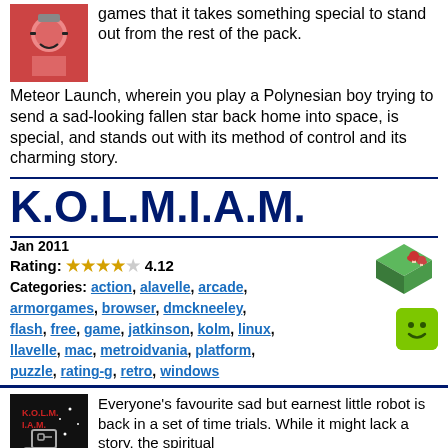games that it takes something special to stand out from the rest of the pack. Meteor Launch, wherein you play a Polynesian boy trying to send a sad-looking fallen star back home into space, is special, and stands out with its method of control and its charming story.
K.O.L.M.I.A.M.
Jan 2011
Rating: 4.12
Categories: action, alavelle, arcade, armorgames, browser, dmckneeley, flash, free, game, jatkinson, kolm, linux, llavelle, mac, metroidvania, platform, puzzle, rating-g, retro, windows
[Figure (illustration): Isometric pixel art game tiles with green grass and mushrooms]
[Figure (illustration): Green rounded square smiley face icon]
Everyone's favourite sad but earnest little robot is back in a set of time trials. While it might lack a story, the spiritual successor to the original K.O.L.M. definitely does not lack a challenge. Can you complete these tricky platforming levels in under a minute flat? Just don't drag your feet, since failure is rather, uh... explosive.